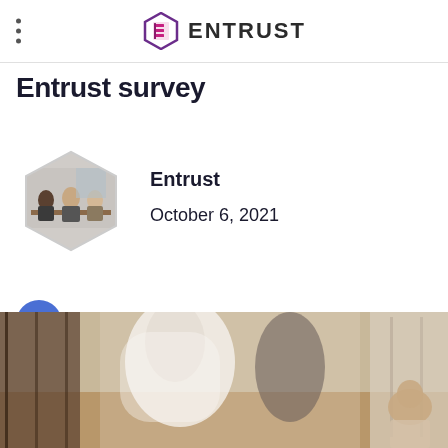Entrust
Entrust survey
Entrust
October 6, 2021
[Figure (illustration): Share button icon — blue circle with white share/network icon]
[Figure (photo): Blurred motion photo of people walking in a modern office or lobby space]